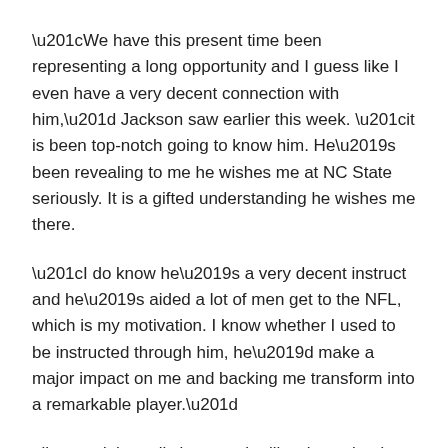“We have this present time been representing a long opportunity and I guess like I even have a very decent connection with him,” Jackson saw earlier this week. “it is been top-notch going to know him. He’s been revealing to me he wishes me at NC State seriously. It is a gifted understanding he wishes me there.
“I do know he’s a very decent instruct and he’s aided a lot of men get to the NFL, which is my motivation. I know whether I used to be instructed through him, he’d make a major impact on me and backing me transform into a remarkable player.”
all around the enlisting way, he likewise gained to realize State lead trainer Dave Doeren well.
New NC State Wolfpack Hawaiian